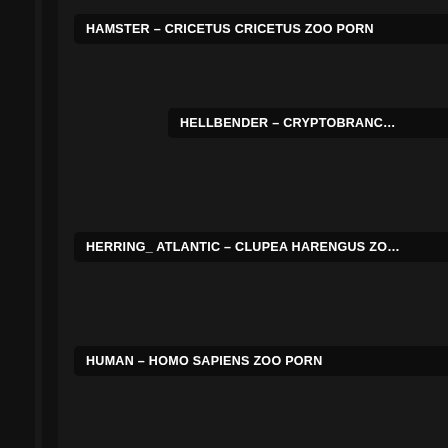HAMSTER - CRICETUS CRICETUS ZOO PORN
HELLBENDER - CRYPTOBRANC…
HERRING_ ATLANTIC - CLUPEA HARENGUS ZO…
HUMAN - HOMO SAPIENS ZOO PORN
HUMM…
HUMMINGBIRD_ CUBAN BEE -
CHAMELEON - ANOLIS
CHAMELEON_ MADAGASCA…
CHICKEN - GALLUS GALL…
CHIPMUNK_ EASTERN - T…
KANGAROO_ RED - MA…